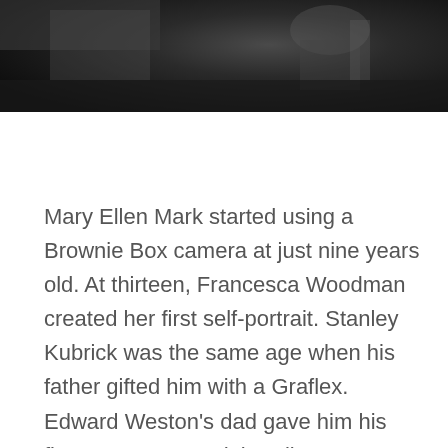[Figure (photo): Black and white photograph showing a dark, close-up scene, partially visible at the top of the page. Appears to show a person or figure in low light.]
Mary Ellen Mark started using a Brownie Box camera at just nine years old. At thirteen, Francesca Woodman created her first self-portrait. Stanley Kubrick was the same age when his father gifted him with a Graflex. Edward Weston's dad gave him his first camera, a Kodak Bulls-Eye No. 2, on his sixteenth birthday. Photography appeals to artists of all ages, and for many, it's an interest to be nurtured and developed